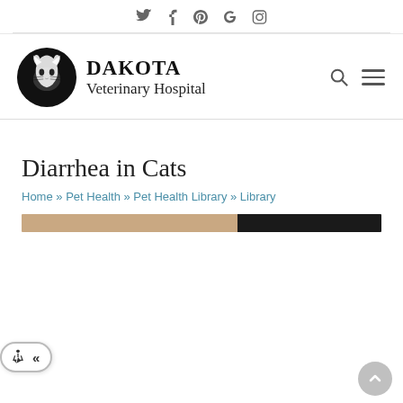Social icons: Twitter, Facebook, Pinterest, Google, Instagram
[Figure (logo): Dakota Veterinary Hospital logo with black circle containing a cat silhouette, and text DAKOTA Veterinary Hospital with search and menu icons]
Diarrhea in Cats
Home » Pet Health » Pet Health Library » Library
[Figure (photo): Top portion of a cat photo strip showing tan and black coloring]
[Figure (other): Accessibility widget button with wheelchair icon and double left arrow]
[Figure (other): Scroll to top circular button]